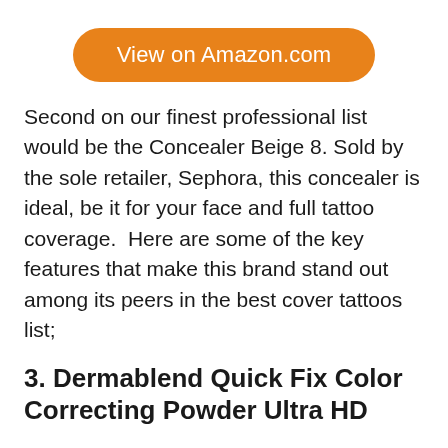[Figure (other): Orange rounded button with white text reading 'View on Amazon.com']
Second on our finest professional list would be the Concealer Beige 8. Sold by the sole retailer, Sephora, this concealer is ideal, be it for your face and full tattoo coverage.  Here are some of the key features that make this brand stand out among its peers in the best cover tattoos list;
3. Dermablend Quick Fix Color Correcting Powder Ultra HD